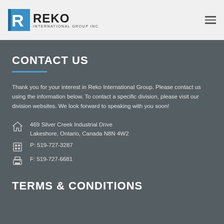[Figure (logo): Reko International Group Inc. logo with blue R icon and company name]
CONTACT US
Thank you for your interest in Reko International Group. Please contact us using the information below. To contact a specific division, please visit our division websites. We look forward to speaking with you soon!
469 Silver Creek Industrial Drive
Lakeshore, Ontario, Canada N8N 4W2
P: 519-727-3287
F: 519-727-6681
TERMS & CONDITIONS